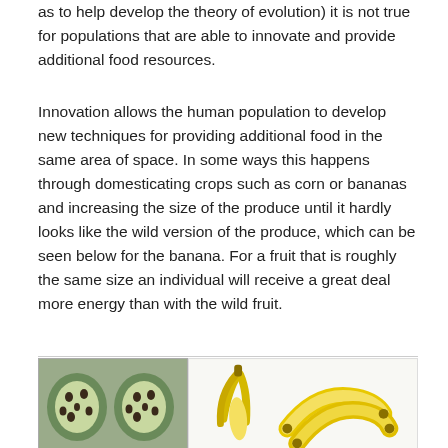as to help develop the theory of evolution) it is not true for populations that are able to innovate and provide additional food resources.
Innovation allows the human population to develop new techniques for providing additional food in the same area of space. In some ways this happens through domesticating crops such as corn or bananas and increasing the size of the produce until it hardly looks like the wild version of the produce, which can be seen below for the banana. For a fruit that is roughly the same size an individual will receive a great deal more energy than with the wild fruit.
[Figure (photo): Two cross-sections of a wild banana (green, small, full of seeds) on the left, and a peeled cultivated banana alongside two whole yellow bananas on the right, showing the domestication of bananas.]